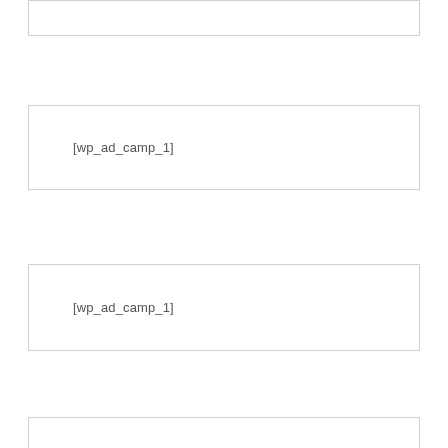[Figure (other): Ad placeholder box (top, partially visible), no text visible]
[wp_ad_camp_1]
[wp_ad_camp_1]
[Figure (other): Ad placeholder box (bottom, partially visible)]